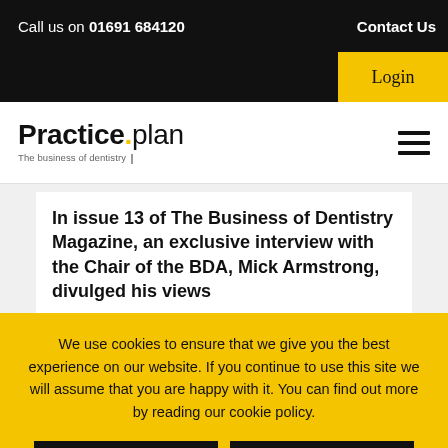Call us on 01691 684120    Contact Us
[Figure (logo): Practiceplan logo with tagline 'The business of dentistry']
In issue 13 of The Business of Dentistry Magazine, an exclusive interview with the Chair of the BDA, Mick Armstrong, divulged his views
We use cookies to ensure that we give you the best experience on our website. If you continue to use this site we will assume that you are happy with it. You can find out more by reading our cookie policy.
Okay   Cookie Policy